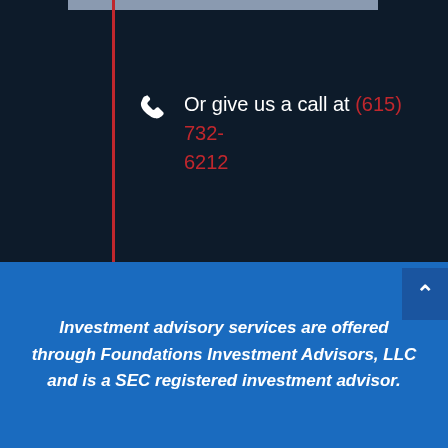Or give us a call at (615) 732-6212
Investment advisory services are offered through Foundations Investment Advisors, LLC and is a SEC registered investment advisor.